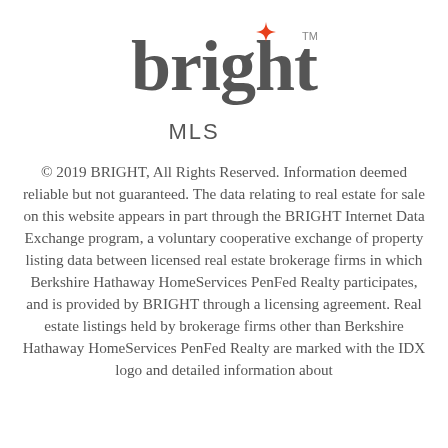[Figure (logo): Bright MLS logo: stylized lowercase 'bright' with an orange 4-pointed star above the 'i', followed by 'MLS' below]
© 2019 BRIGHT, All Rights Reserved. Information deemed reliable but not guaranteed. The data relating to real estate for sale on this website appears in part through the BRIGHT Internet Data Exchange program, a voluntary cooperative exchange of property listing data between licensed real estate brokerage firms in which Berkshire Hathaway HomeServices PenFed Realty participates, and is provided by BRIGHT through a licensing agreement. Real estate listings held by brokerage firms other than Berkshire Hathaway HomeServices PenFed Realty are marked with the IDX logo and detailed information about